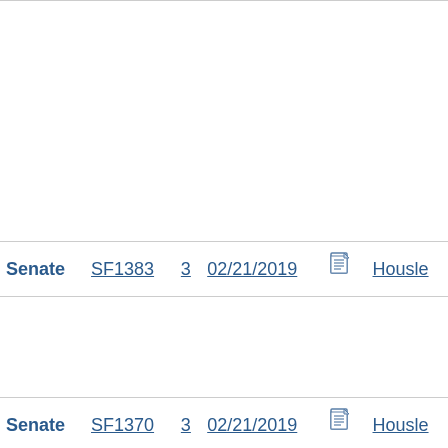| Chamber | Bill | Ver | Date | Doc | Author |
| --- | --- | --- | --- | --- | --- |
| Senate | SF1383 | 3 | 02/21/2019 | [doc] | Housle |
| Senate | SF1370 | 3 | 02/21/2019 | [doc] | Housle |
| Senate | SF1369 | 2 | 02/18/2019 | [doc] | Housle |